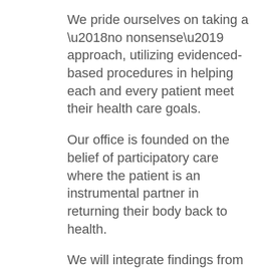We pride ourselves on taking a ‘no nonsense’ approach, utilizing evidenced-based procedures in helping each and every patient meet their health care goals.
Our office is founded on the belief of participatory care where the patient is an instrumental partner in returning their body back to health.
We will integrate findings from the most recent research along with our years of accumulated knowledge and will leave no stone unturned when it comes to getting to the root cause of your health problem.
All of this is done in a warm, caring environment where we always take the